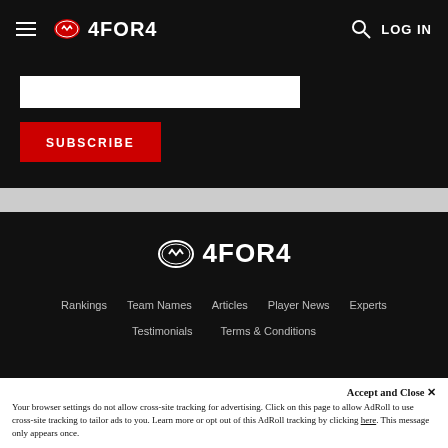4FOR4
[Figure (logo): 4FOR4 logo with football icon in header]
SUBSCRIBE
[Figure (logo): 4FOR4 footer logo with football icon]
Rankings
Team Names
Articles
Player News
Experts
Testimonials
Terms & Conditions
Accept and Close ✕
Your browser settings do not allow cross-site tracking for advertising. Click on this page to allow AdRoll to use cross-site tracking to tailor ads to you. Learn more or opt out of this AdRoll tracking by clicking here. This message only appears once.